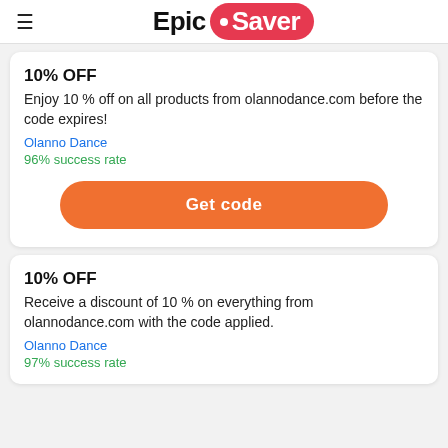Epic Saver
10% OFF
Enjoy 10 % off on all products from olannodance.com before the code expires!
Olanno Dance
96% success rate
Get code
10% OFF
Receive a discount of 10 % on everything from olannodance.com with the code applied.
Olanno Dance
97% success rate